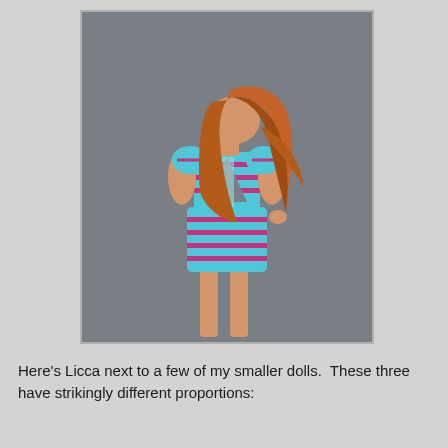[Figure (photo): A fashion doll seen from the back, with long auburn/red hair, wearing a blue and pink striped short romper with an open back and short puff sleeves. The doll stands against a gray background.]
Here's Licca next to a few of my smaller dolls.  These three have strikingly different proportions: